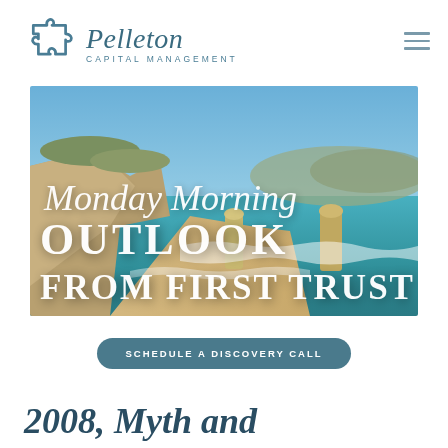[Figure (logo): Pelleton Capital Management logo with puzzle piece icon and italic serif wordmark]
[Figure (photo): Coastal landscape photo (limestone sea stacks, turquoise ocean, blue sky) overlaid with 'Monday Morning OUTLOOK FROM FIRST TRUST' text]
SCHEDULE A DISCOVERY CALL
2008, Myth and